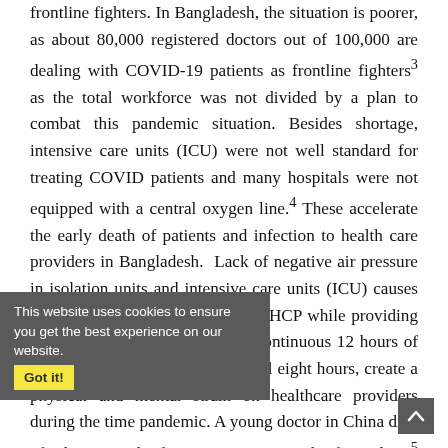frontline fighters. In Bangladesh, the situation is poorer, as about 80,000 registered doctors out of 100,000 are dealing with COVID-19 patients as frontline fighters³ as the total workforce was not divided by a plan to combat this pandemic situation. Besides shortage, intensive care units (ICU) were not well standard for treating COVID patients and many hospitals were not equipped with a central oxygen line.⁴ These accelerate the early death of patients and infection to health care providers in Bangladesh. Lack of negative air pressure in isolation units and intensive care units (ICU) causes the spread of infected aerosols to HCP while providing services to admitted patients. A continuous 12 hours of work time, as opposed to the usual eight hours, create a physical and mental strain on healthcare providers during the time pandemic. A young doctor in China died of a heart attack after a continuous work of 10 days.⁵ The doctors and their family members hid symptoms and infection due to the stigma when visiting doctors' chambers or hospitals for seeking medical care put the doctors and other health care workers at great risks. At least 12 health workers, including five doctors, of a tertiary care hospital in Dhaka, were infected with the coronavirus because of
This website uses cookies to ensure you get the best experience on our website. Got it!